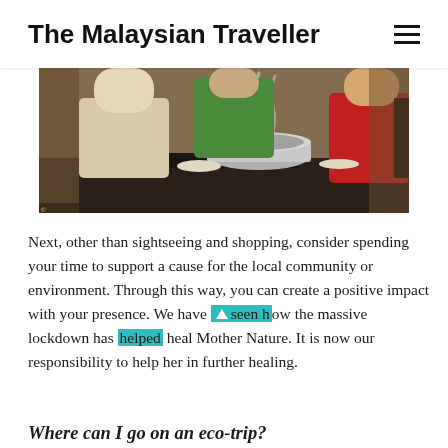The Malaysian Traveller
[Figure (photo): People cooking at an outdoor stall, with a large steaming pot on a gas burner. A child in a red shirt watches, and adults in aprons tend to the food.]
Next, other than sightseeing and shopping, consider spending your time to support a cause for the local community or environment. Through this way, you can create a positive impact with your presence. We have seen how the massive lockdown has helped heal Mother Nature. It is now our responsibility to help her in further healing.
Where can I go on an eco-trip?